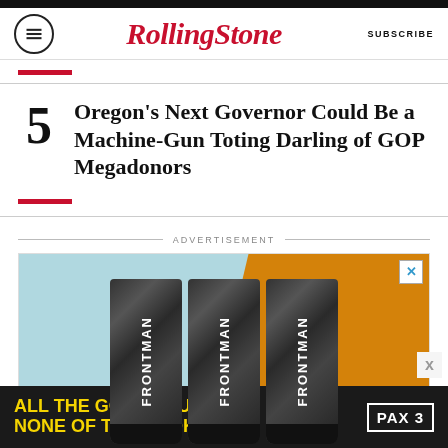Rolling Stone | SUBSCRIBE
Oregon's Next Governor Could Be a Machine-Gun Toting Darling of GOP Megadonors
[Figure (photo): Advertisement showing three black FRONTMAN product tubes against a light blue and orange background]
[Figure (infographic): Bottom banner advertisement: ALL THE GOOD STUFF. NONE OF THE SMOKE. PAX 3]